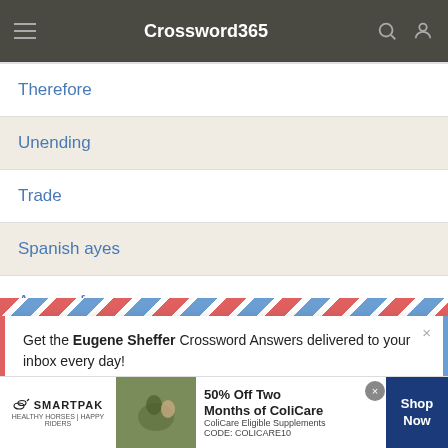Crossword365
Therefore
Unending
Trade
Spanish ayes
Aware of
[Figure (screenshot): Email signup popup with airmail border design. Text: 'Get the Eugene Sheffer Crossword Answers delivered to your inbox every day!' with an email input field.]
[Figure (screenshot): SmartPak advertisement banner: '50% Off Two Months of ColiCare, ColiCare Eligible Supplements CODE: COLICARE10' with Shop Now button.]